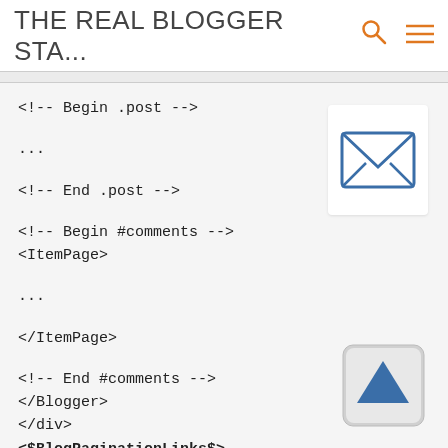THE REAL BLOGGER STA...
<!-- Begin .post -->

...

<!-- End .post -->

<!-- Begin #comments -->
<ItemPage>

...

</ItemPage>

<!-- End #comments -->
</Blogger>
</div>
<$BlogPaginationLinks$>
</div>
<!-- End #main -->
[Figure (illustration): Email envelope icon in a white rounded box]
[Figure (illustration): Scroll to top button with blue triangle arrow in a grey rounded box]